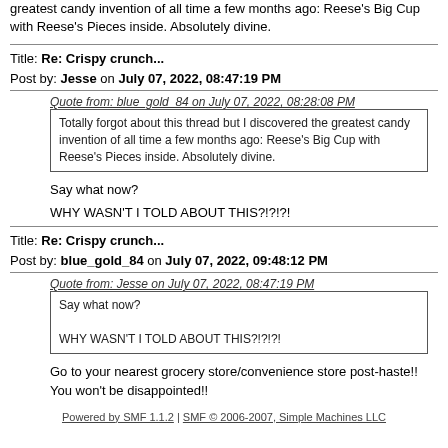greatest candy invention of all time a few months ago: Reese's Big Cup with Reese's Pieces inside. Absolutely divine.
Title: Re: Crispy crunch...
Post by: Jesse on July 07, 2022, 08:47:19 PM
Quote from: blue_gold_84 on July 07, 2022, 08:28:08 PM
Totally forgot about this thread but I discovered the greatest candy invention of all time a few months ago: Reese's Big Cup with Reese's Pieces inside. Absolutely divine.
Say what now?
WHY WASN'T I TOLD ABOUT THIS?!?!?!
Title: Re: Crispy crunch...
Post by: blue_gold_84 on July 07, 2022, 09:48:12 PM
Quote from: Jesse on July 07, 2022, 08:47:19 PM
Say what now?
WHY WASN'T I TOLD ABOUT THIS?!?!?!
Go to your nearest grocery store/convenience store post-haste!! You won't be disappointed!!
Powered by SMF 1.1.2 | SMF © 2006-2007, Simple Machine LLC